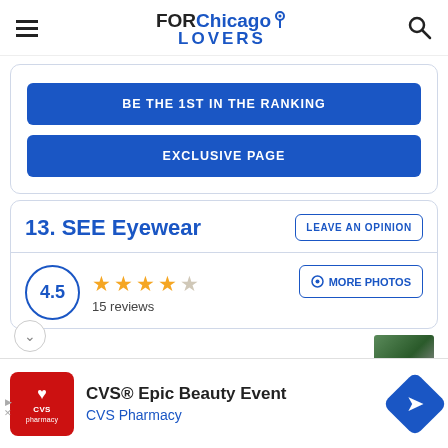FOR Chicago LOVERS
BE THE 1ST IN THE RANKING
EXCLUSIVE PAGE
13. SEE Eyewear
4.5 — 15 reviews
MORE PHOTOS
LEAVE AN OPINION
CVS® Epic Beauty Event
CVS Pharmacy